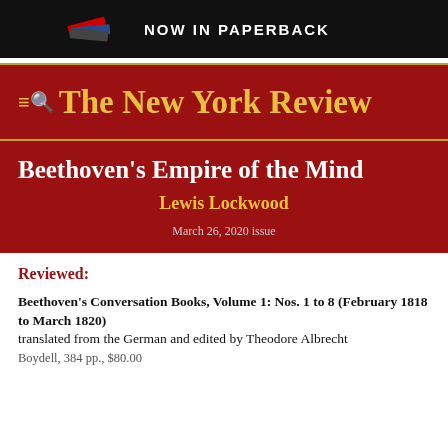[Figure (other): Advertisement banner: book image on left, text 'NOW IN PAPERBACK' on right, dark background]
The New York Review
Beethoven's Empire of the Mind
Lewis Lockwood
March 26, 2020 issue
Reviewed:
Beethoven's Conversation Books, Volume 1: Nos. 1 to 8 (February 1818 to March 1820)
translated from the German and edited by Theodore Albrecht
Boydell, 384 pp., $80.00